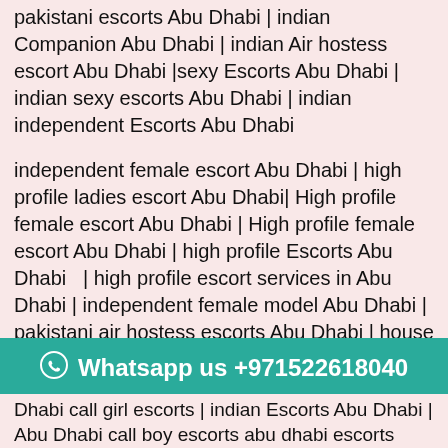pakistani escorts Abu Dhabi | indian Companion Abu Dhabi | indian Air hostess escort Abu Dhabi |sexy Escorts Abu Dhabi | indian sexy escorts Abu Dhabi | indian independent Escorts Abu Dhabi
independent female escort Abu Dhabi | high profile ladies escort Abu Dhabi| High profile female escort Abu Dhabi | High profile female escort Abu Dhabi | high profile Escorts Abu Dhabi | high profile escort services in Abu Dhabi | independent female model Abu Dhabi | pakistani air hostess escorts Abu Dhabi | house wife escorts Abu Dhabi | Indian Escorts Abu Dhabi | indian escorts service Abu Dhabi | Abu Dhabi Escorts number | Abu Dhabi escorts number | Abu Dhabi female escorts number | Abu Dhabi companions number | Abu Dhabi escort contact number | Abu Dhabi escort mobile number | Abu Dhabi mature escorts | Abu Dhabi night girls | Abu Dhabi night club
Whatsapp us +971522618040
Dhabi call girl escorts | indian Escorts Abu Dhabi | Abu Dhabi call boy escorts abu dhabi escorts number